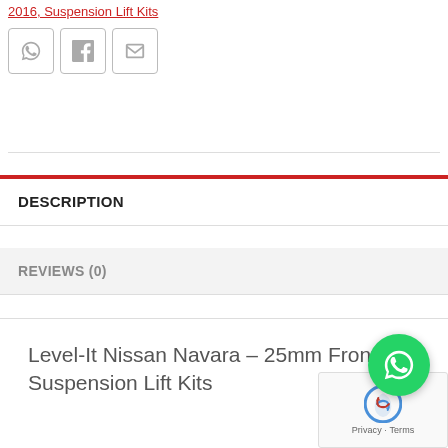2016, Suspension Lift Kits
[Figure (other): Three social share buttons: WhatsApp, Facebook, Email]
DESCRIPTION
REVIEWS (0)
Level-It Nissan Navara – 25mm Front Suspension Lift Kits
[Figure (other): WhatsApp floating action button (green circle)]
[Figure (other): reCAPTCHA widget with Privacy - Terms text]